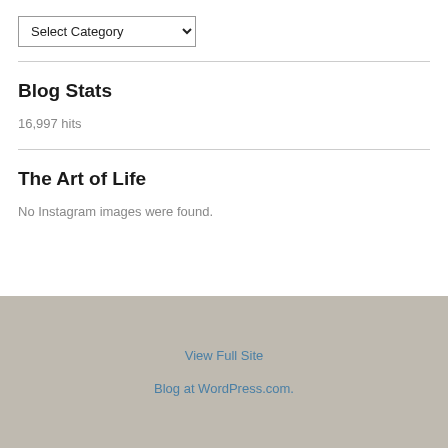[Figure (screenshot): Dropdown select element labeled 'Select Category' with a chevron arrow on the right]
Blog Stats
16,997 hits
The Art of Life
No Instagram images were found.
View Full Site
Blog at WordPress.com.